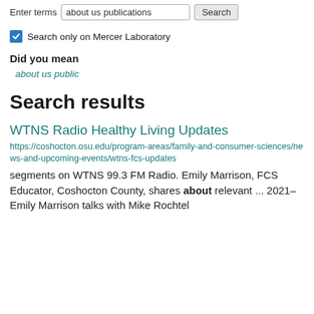Enter terms  about us publications  Search
Search only on Mercer Laboratory
Did you mean
about us public
Search results
WTNS Radio Healthy Living Updates
https://coshocton.osu.edu/program-areas/family-and-consumer-sciences/news-and-upcoming-events/wtns-fcs-updates
segments on WTNS 99.3 FM Radio. Emily Marrison, FCS Educator, Coshocton County, shares about relevant ... 2021– Emily Marrison talks with Mike Rochtel